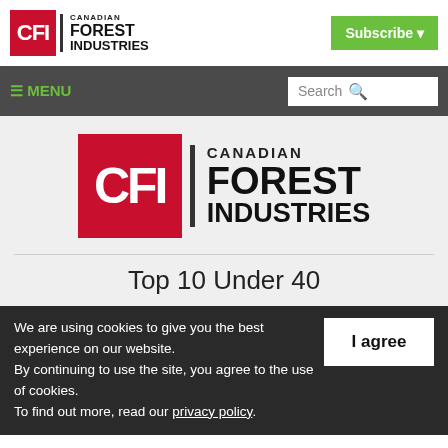[Figure (logo): Canadian Forest Industries (CFI) logo with red CFI box and bold text, top-left header]
[Figure (logo): Subscribe button with green background and dropdown arrow, top-right header]
≡ MENU
Search
[Figure (logo): Large Canadian Forest Industries (CFI) logo centered in main content area]
Top 10 Under 40
We are using cookies to give you the best experience on our website.
By continuing to use the site, you agree to the use of cookies.
To find out more, read our privacy policy.
I agree